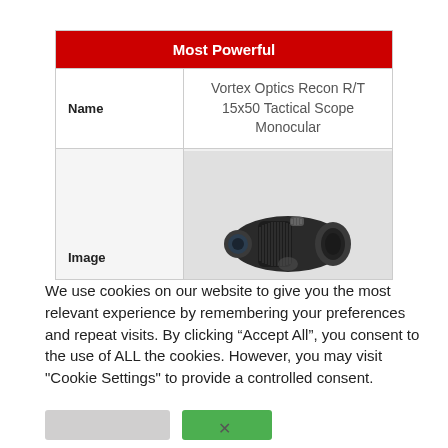|  | Most Powerful |
| --- | --- |
| Name | Vortex Optics Recon R/T 15x50 Tactical Scope Monocular |
| Image | [product image] |
We use cookies on our website to give you the most relevant experience by remembering your preferences and repeat visits. By clicking “Accept All”, you consent to the use of ALL the cookies. However, you may visit "Cookie Settings" to provide a controlled consent.